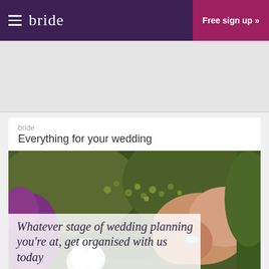bride  Free sign up »
[Figure (other): Advertisement banner placeholder (grey area)]
bride
Everything for your wedding
[Figure (photo): Wedding photo showing hands holding flowers with a diamond ring, overlaid with italic text: 'Whatever stage of wedding planning you're at, get organised with us today' and a 'Sign up free »' button]
Whatever stage of wedding planning you're at, get organised with us today
Sign up free »